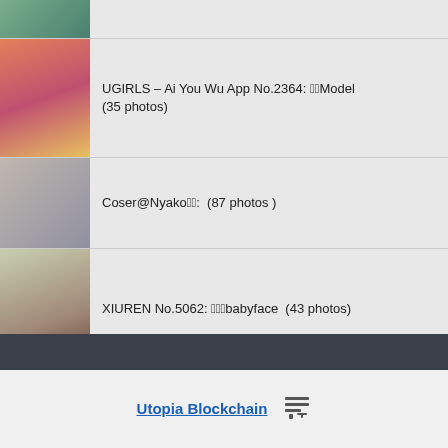[Figure (photo): Partial thumbnail of a photo at the top of the list]
UGIRLS – Ai You Wu App No.2364: ??Model (35 photos)
[Figure (photo): Thumbnail image for UGIRLS entry]
Coser@Nyako??: (87 photos )
[Figure (photo): Thumbnail image for Coser@Nyako entry]
XIUREN No.5062: ???babyface (43 photos)
[Figure (photo): Thumbnail image for XIUREN entry]
Utopia Blockchain